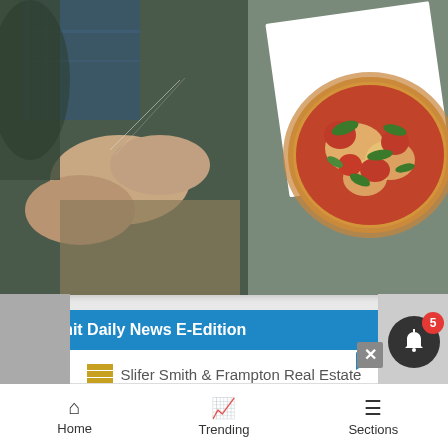[Figure (photo): Composite image: person fly fishing on left, pizza with tomatoes and basil on right, on a light background card]
Summit Daily News E-Edition
[Figure (screenshot): Slifer Smith & Frampton Real Estate advertisement with Summit Daily logo banner showing a landscape photo]
Home   Trending   Sections